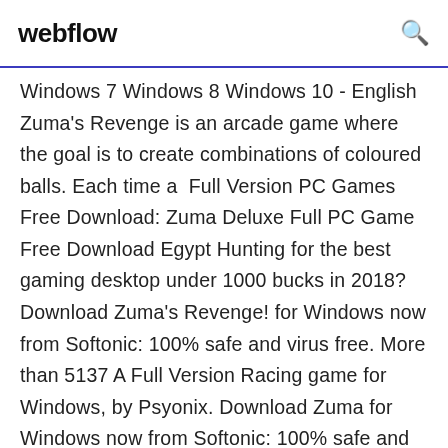webflow
Windows 7 Windows 8 Windows 10 - English Zuma's Revenge is an arcade game where the goal is to create combinations of coloured balls. Each time a  Full Version PC Games Free Download: Zuma Deluxe Full PC Game Free Download Egypt Hunting for the best gaming desktop under 1000 bucks in 2018? Download Zuma's Revenge! for Windows now from Softonic: 100% safe and virus free. More than 5137 A Full Version Racing game for Windows, by Psyonix. Download Zuma for Windows now from Softonic: 100% safe and virus free. More than 3674 downloads this month. Download Zuma latest version 2020. Download Games